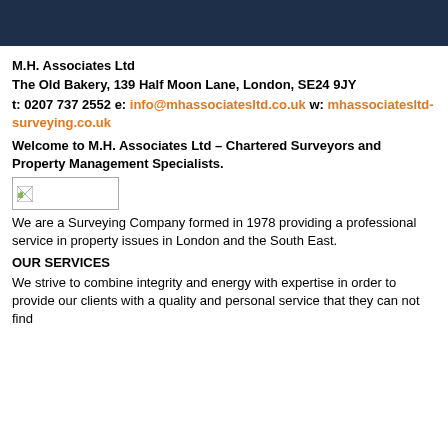M.H. Associates Ltd
The Old Bakery, 139 Half Moon Lane, London, SE24 9JY
t: 0207 737 2552 e: info@mhassociatesltd.co.uk w: mhassociatesltd-surveying.co.uk
Welcome to M.H. Associates Ltd – Chartered Surveyors and Property Management Specialists.
[Figure (illustration): Small image placeholder with broken image icon]
We are a Surveying Company formed in 1978 providing a professional service in property issues in London and the South East.
OUR SERVICES
We strive to combine integrity and energy with expertise in order to provide our clients with a quality and personal service that they can not find